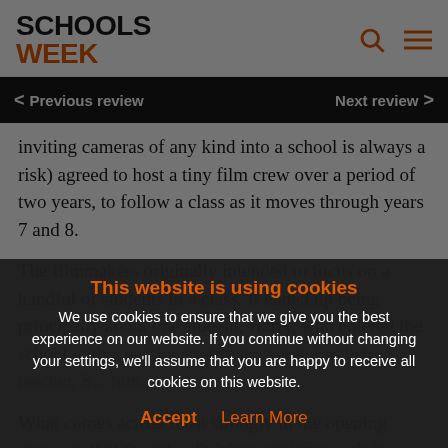[Figure (logo): Schools Week logo with 'SCHOOLS' in black bold and 'WEEK' in orange bold, with search and hamburger menu icons in orange on the right]
< Previous review    Next review >
inviting cameras of any kind into a school is always a risk) agreed to host a tiny film crew over a period of two years, to follow a class as it moves through years 7 and 8.
The filmmakers originally intended to focus on a handful of students in a class. It ended up being principally about one student, Harry, who entered the school with a passionate fire in charge English teacher, S... him...
What comes across most strongly in the opening scenes is that the school's 'character' approach is heavily weighted towards the 'warm' end of the
This website is using cookies
We use cookies to ensure that we give you the best experience on our website. If you continue without changing your settings, we'll assume that you are happy to receive all cookies on this website.
Accept    Learn More